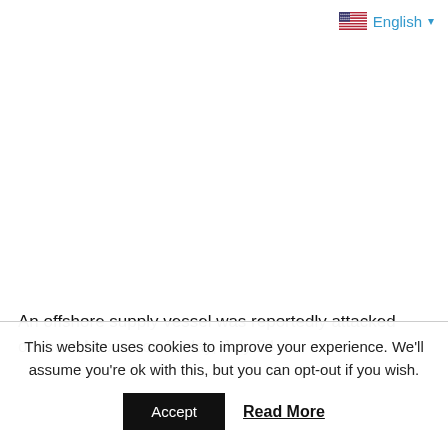🇺🇸 English ▾
An offshore supply vessel was reportedly attacked offshore Mexico on Friday, July 24.
This website uses cookies to improve your experience. We'll assume you're ok with this, but you can opt-out if you wish.
Accept   Read More